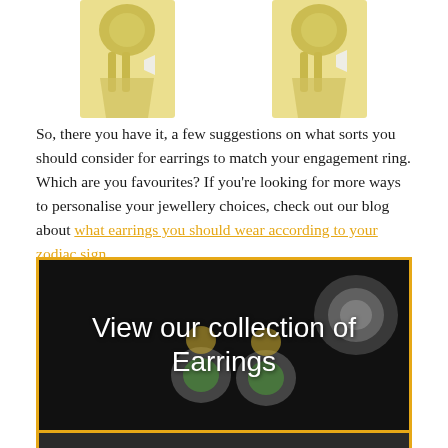[Figure (photo): Two gold jewelry items (earrings or pendants) photographed on white background, partially cropped at top of page]
So, there you have it, a few suggestions on what sorts you should consider for earrings to match your engagement ring. Which are you favourites? If you’re looking for more ways to personalise your jewellery choices, check out our blog about what earrings you should wear according to your zodiac sign.
[Figure (photo): Dark banner image showing gold and diamond earrings with green heart-shaped gemstones on black background, with overlay text 'View our collection of Earrings' and a Browse button]